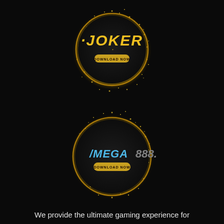[Figure (logo): JOKER gaming brand logo inside a black circle with golden glitter/sparkle ring effect and a 'DOWNLOAD NOW' button]
[Figure (logo): MEGA888 gaming brand logo inside a black circle with golden glitter/sparkle ring effect and a 'DOWNLOAD NOW' button]
We provide the ultimate gaming experience for